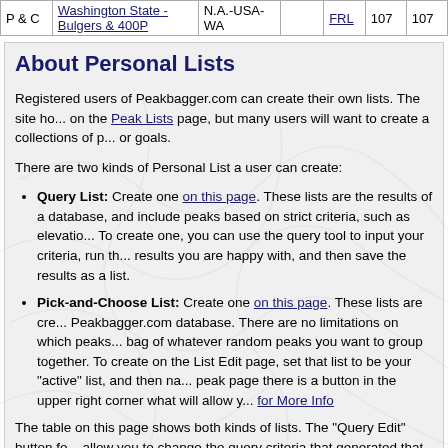| P & C | Washington State - Bulgers & 400P | N.A.-USA-WA |  | FRL | 107 | 107 |
About Personal Lists
Registered users of Peakbagger.com can create their own lists. The site ho... on the Peak Lists page, but many users will want to create a collections of p... or goals.
There are two kinds of Personal List a user can create:
Query List: Create one on this page. These lists are the results of a database, and include peaks based on strict criteria, such as elevatio... To create one, you can use the query tool to input your criteria, run th... results you are happy with, and then save the results as a list.
Pick-and-Choose List: Create one on this page. These lists are cre... Peakbagger.com database. There are no limitations on which peaks... bag of whatever random peaks you want to group together. To create on the List Edit page, set that list to be your "active" list, and then na... peak page there is a button in the upper right corner what will allow y... for More Info
The table on this page shows both kinds of lists. The "Query Edit" button fo... allow you to change the query criteria that generated that list. The "List Edit'... description, columns, and other properties of the list, and will work for both l...
Wish List: Your "Wish List" is a special kind of Pick-and-Choose List. Wher... add peaks you have not yet climbed. And once you climb a peak on your W... Wish List. The Wish List also lets others know your upcoming plans, and is...